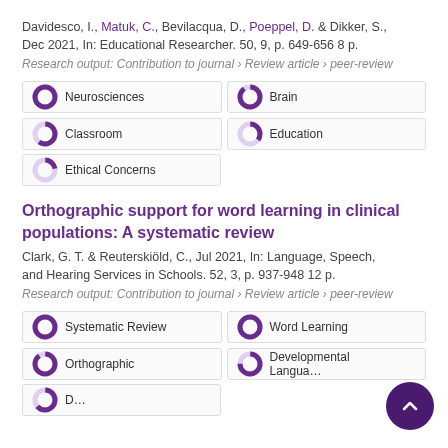Davidesco, I., Matuk, C., Bevilacqua, D., Poeppel, D. & Dikker, S., Dec 2021, In: Educational Researcher. 50, 9, p. 649-656 8 p.
Research output: Contribution to journal › Review article › peer-review
[Figure (donut-chart): Five keyword donut charts: Neurosciences 100%, Brain 90%, Classroom 60%, Education 35%, Ethical Concerns 22%]
Orthographic support for word learning in clinical populations: A systematic review
Clark, G. T. & Reuterskiöld, C., Jul 2021, In: Language, Speech, and Hearing Services in Schools. 52, 3, p. 937-948 12 p.
Research output: Contribution to journal › Review article › peer-review
[Figure (donut-chart): Four visible keyword donut charts: Systematic Review 100%, Word Learning 100%, Orthographic 90%, Developmental Language 75%, plus partial fifth]